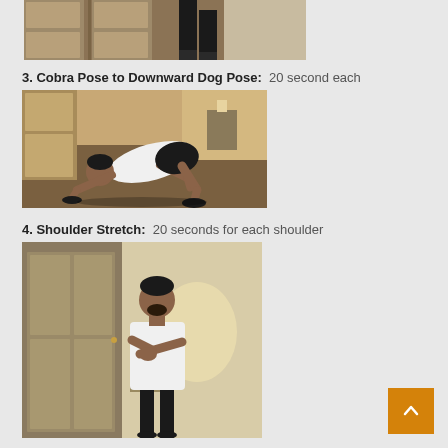[Figure (photo): Top portion of a person standing near a door, cropped at the top of the page]
3. Cobra Pose to Downward Dog Pose:  20 second each
[Figure (photo): Person doing cobra pose / kneeling on all fours on the floor in a room]
4. Shoulder Stretch:  20 seconds for each shoulder
[Figure (photo): Person standing doing a shoulder stretch, arms crossed in front, in a room near a door]